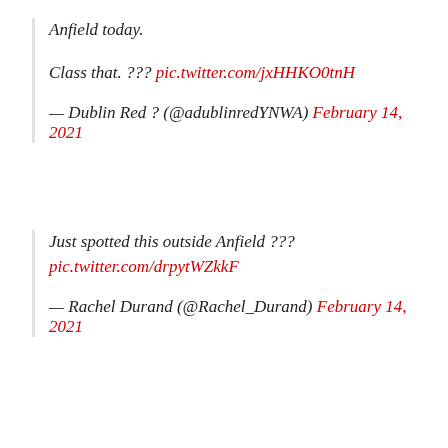Anfield today.
Class that. ??? pic.twitter.com/jxHHKO0tnH
— Dublin Red ? (@adublinredYNWA) February 14, 2021
Just spotted this outside Anfield ??? pic.twitter.com/drpytWZkkF
— Rachel Durand (@Rachel_Durand) February 14, 2021